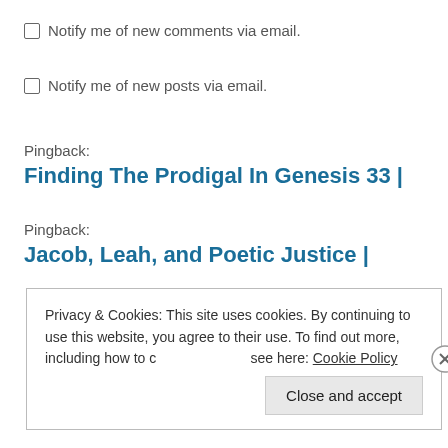Notify me of new comments via email.
Notify me of new posts via email.
Pingback:
Finding The Prodigal In Genesis 33 |
Pingback:
Jacob, Leah, and Poetic Justice |
Privacy & Cookies: This site uses cookies. By continuing to use this website, you agree to their use. To find out more, including how to control cookies, see here: Cookie Policy
Close and accept